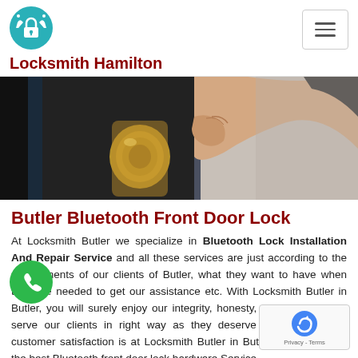[Figure (logo): Locksmith Hamilton logo - teal circle with lock and tools icon]
Locksmith Hamilton
[Figure (photo): Close-up photo of a hand holding a brass door lock/knob on a door]
Butler Bluetooth Front Door Lock
At Locksmith Butler we specialize in Bluetooth Lock Installation And Repair Service and all these services are just according to the requirements of our clients of Butler, what they want to have when they are needed to get our assistance etc. With Locksmith Butler in Butler, you will surely enjoy our integrity, honesty, and dedication to serve our clients in right way as they deserve to be. Complete customer satisfaction is a priority at Locksmith Butler in Butler and to provide the best Bluetooth front door lock hardware Service.